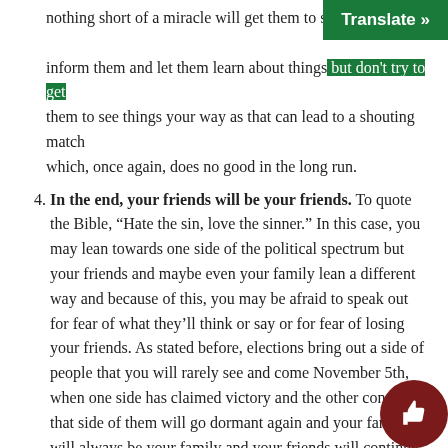nothing short of a miracle will get them to see things your way. inform them and let them learn about things but don't try to get them to see things your way as that can lead to a shouting match which, once again, does no good in the long run.
4. In the end, your friends will be your friends. To quote the Bible, “Hate the sin, love the sinner.” In this case, you may lean towards one side of the political spectrum but your friends and maybe even your family lean a different way and because of this, you may be afraid to speak out for fear of what they’ll think or say or for fear of losing your friends. As stated before, elections bring out a side of people that you will rarely see and come November 5th, when one side has claimed victory and the other concedes, that side of them will go dormant again and your family will always be your family and your friends will continue to be your friends. So long as both of you feel that your friendship is worth holding onto then you can both continue being friends while supporting different sides in an election.
5. You are not alone. During an election year, you may feel surrounded by one group’s political ideology and because of it, you are afraid to get active and decide to go with the status quo. Or if you’re active, you may feel yourself as an island surrounded by a sea of opposition. This is the most important thing for y